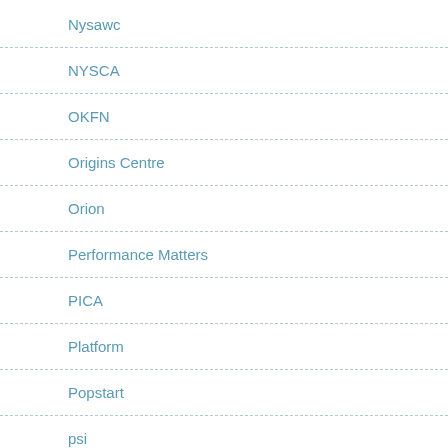Nysawc
NYSCA
OKFN
Origins Centre
Orion
Performance Matters
PICA
Platform
Popstart
psi